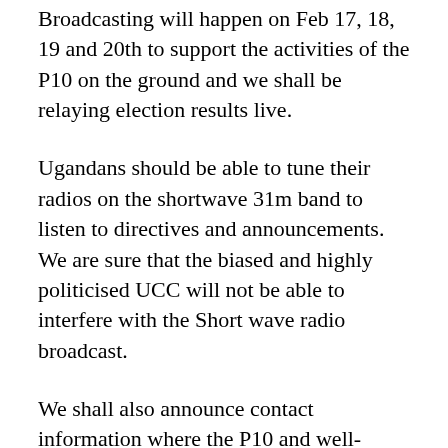Broadcasting will happen on Feb 17, 18, 19 and 20th to support the activities of the P10 on the ground and we shall be relaying election results live.
Ugandans should be able to tune their radios on the shortwave 31m band to listen to directives and announcements. We are sure that the biased and highly politicised UCC will not be able to interfere with the Short wave radio broadcast.
We shall also announce contact information where the P10 and well-wishers shall be able to contact us with photos, audio recordings and any information depicting irregularities and illegalities happening during the polling